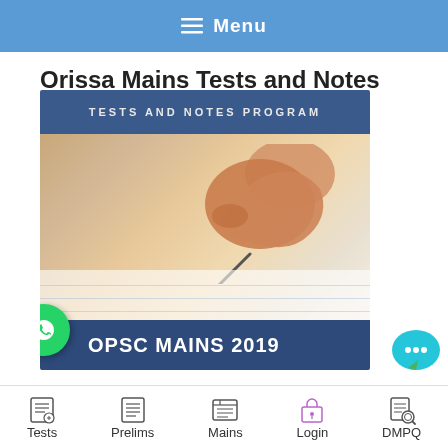≡ Menu
Orissa Mains Tests and Notes
[Figure (photo): Photo of a hand writing with a pen on paper, with overlay text 'TESTS AND NOTES PROGRAM' at top and 'OPSC MAINS 2019' banner at bottom with WhatsApp logo icon.]
Tests  Prelims  Mains  Login  DMPQ